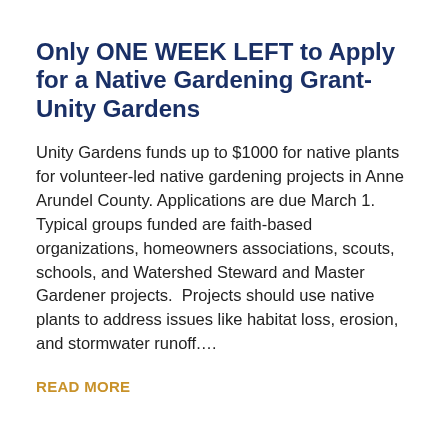Only ONE WEEK LEFT to Apply for a Native Gardening Grant- Unity Gardens
Unity Gardens funds up to $1000 for native plants for volunteer-led native gardening projects in Anne Arundel County. Applications are due March 1. Typical groups funded are faith-based organizations, homeowners associations, scouts, schools, and Watershed Steward and Master Gardener projects.  Projects should use native plants to address issues like habitat loss, erosion, and stormwater runoff.…
READ MORE